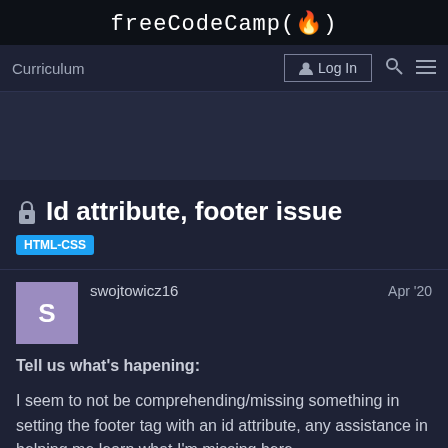freeCodeCamp(🔥)
Curriculum   Log In
🔒 Id attribute, footer issue
HTML-CSS
swojtowicz16   Apr '20
Tell us what's hapening:

I seem to not be comprehending/missing something in setting the footer tag with an id attribute, any assistance in helping me learn what I'm missing here